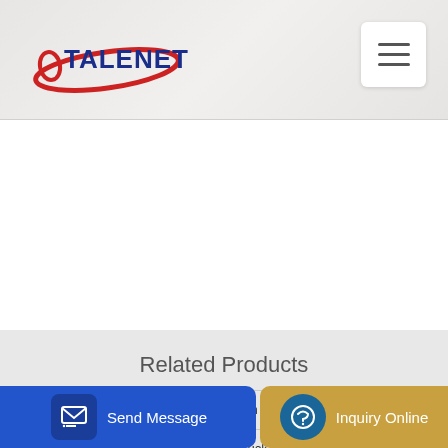TALENET
Related Products
Concrete Pumping Holdings Acquisition Corp Form 424B3
good quality 336hp 9m3 6 x 4 mixer truck for sale